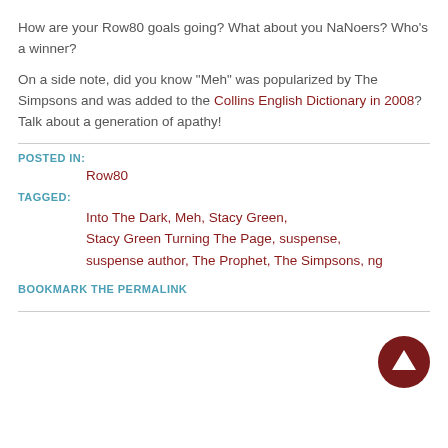How are your Row80 goals going? What about you NaNoers? Who's a winner?
On a side note, did you know “Meh” was popularized by The Simpsons and was added to the Collins English Dictionary in 2008? Talk about a generation of apathy!
POSTED IN:
Row80
TAGGED:
Into The Dark, Meh, Stacy Green, Stacy Green Turning The Page, suspense, suspense author, The Prophet, The Simpsons, ng
BOOKMARK THE PERMALINK